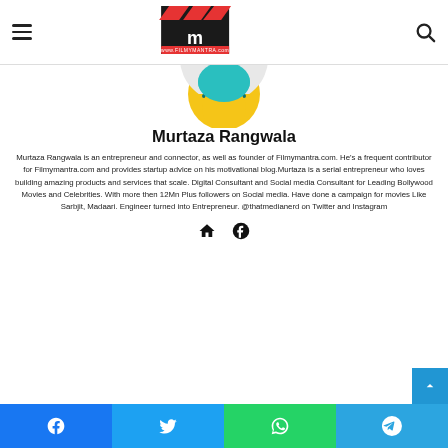Filmymantra.com logo and navigation
[Figure (illustration): Generic user avatar with yellow circle background, teal laptop/book icon silhouette on light circular backdrop]
Murtaza Rangwala
Murtaza Rangwala is an entrepreneur and connector, as well as founder of Filmymantra.com. He's a frequent contributor for Filmymantra.com and provides startup advice on his motivational blog.Murtaza is a serial entrepreneur who loves building amazing products and services that scale. Digital Consultant and Social media Consultant for Leading Bollywood Movies and Celebrities. With more then 12Mn Plus followers on Social media. Have done a campaign for movies Like Sarbjit, Madaari. Engineer turned into Entrepreneur. @thatmedianerd on Twitter and Instagram
Facebook, Twitter, WhatsApp, Telegram share buttons